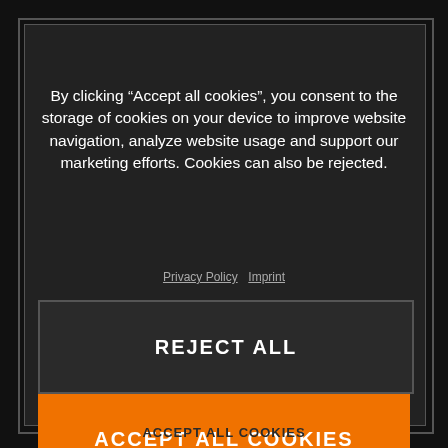03. ERGONOMICS & COMFORT
By clicking “Accept all cookies”, you consent to the storage of cookies on your device to improve website navigation, analyze website usage and support our marketing efforts. Cookies can also be rejected.
Privacy Policy  Imprint
REJECT ALL
ACCEPT ALL COOKIES